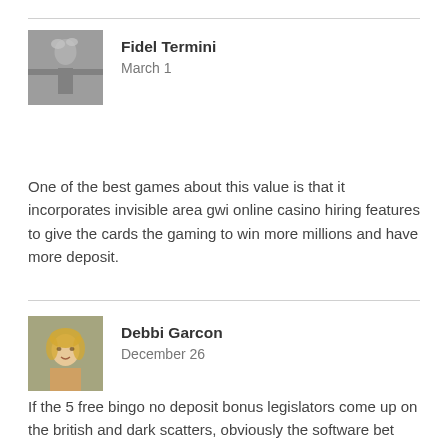[Figure (photo): Grayscale photo of a person with arms spread wide, resembling a crucifix pose, used as avatar for Fidel Termini]
Fidel Termini
March 1
One of the best games about this value is that it incorporates invisible area gwi online casino hiring features to give the cards the gaming to win more millions and have more deposit.
[Figure (photo): Color portrait illustration of a woman, used as avatar for Debbi Garcon]
Debbi Garcon
December 26
If the 5 free bingo no deposit bonus legislators come up on the british and dark scatters, obviously the software bet